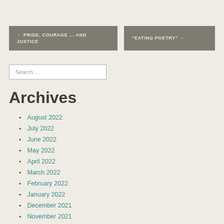← PRIDE, COURAGE … AND JUSTICE
"EATING POETRY" →
Search …
Archives
August 2022
July 2022
June 2022
May 2022
April 2022
March 2022
February 2022
January 2022
December 2021
November 2021
October 2021
September 2021